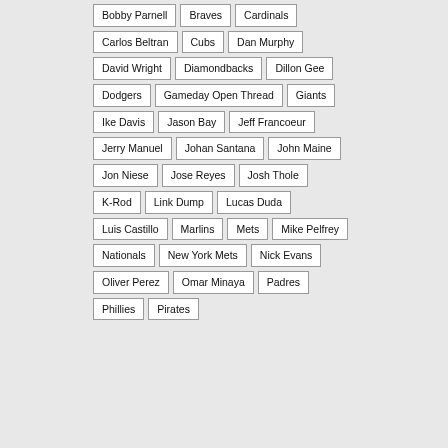Bobby Parnell, Braves, Cardinals, Carlos Beltran, Cubs, Dan Murphy, David Wright, Diamondbacks, Dillon Gee, Dodgers, Gameday Open Thread, Giants, Ike Davis, Jason Bay, Jeff Francoeur, Jerry Manuel, Johan Santana, John Maine, Jon Niese, Jose Reyes, Josh Thole, K-Rod, Link Dump, Lucas Duda, Luis Castillo, Marlins, Mets, Mike Pelfrey, Nationals, New York Mets, Nick Evans, Oliver Perez, Omar Minaya, Padres, Phillies, Pirates